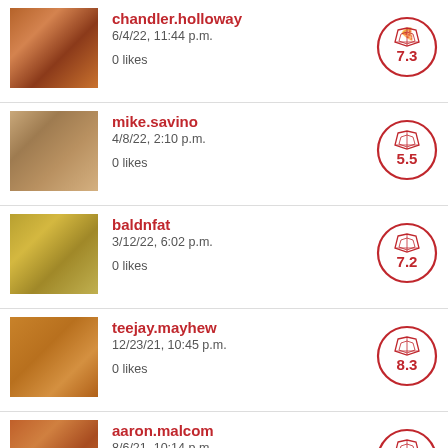chandler.holloway
6/4/22, 11:44 p.m.
0 likes
7.3
mike.savino
4/8/22, 2:10 p.m.
0 likes
5.5
baldnfat
3/12/22, 6:02 p.m.
0 likes
7.2
teejay.mayhew
12/23/21, 10:45 p.m.
0 likes
8.3
aaron.malcom
8/6/21, 10:14 p.m.